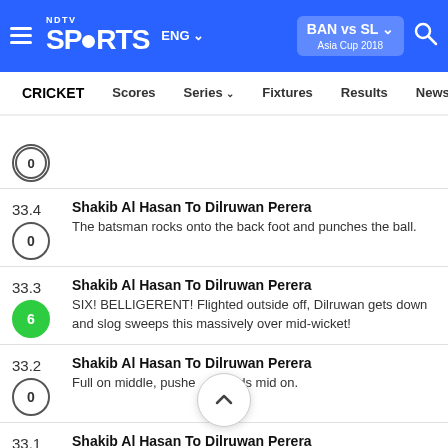NDTV Sports | ENG | BAN vs SL Asia Cup 2018
CRICKET  Scores  Series  Fixtures  Results  News
33.4  Shakib Al Hasan To Dilruwan Perera  The batsman rocks onto the back foot and punches the ball.  [0]
33.3  Shakib Al Hasan To Dilruwan Perera  SIX! BELLIGERENT! Flighted outside off, Dilruwan gets down and slog sweeps this massively over mid-wicket!  [6]
33.2  Shakib Al Hasan To Dilruwan Perera  Full on middle, pushed towards mid on.  [0]
33.1  Shakib Al Hasan To Dilruwan Perera  Around off, defended watchfully.  [0]